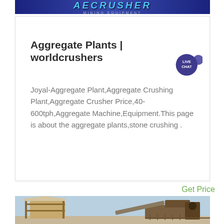[Figure (logo): AECrusher Mining Equipment logo banner with bold styled text on dark blue background]
Aggregate Plants | worldcrushers
[Figure (other): Live Chat bubble icon — circular dark purple badge with 'LIVE CHAT' text and speech bubble tail]
Joyal-Aggregate Plant,Aggregate Crushing Plant,Aggregate Crusher Price,40-600tph,Aggregate Machine,Equipment.This page is about the aggregate plants,stone crushing .
Get Price
[Figure (photo): Photograph of aggregate crushing plant machinery and equipment against a light blue sky]